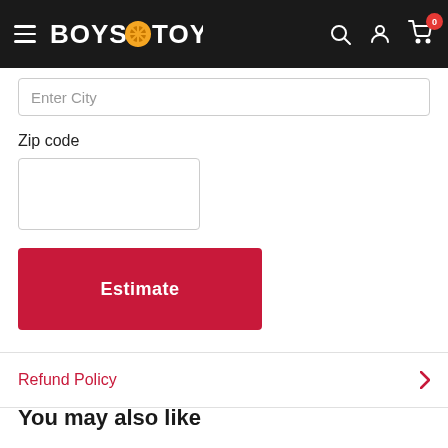Boys & Toys — Navigation bar with logo, search, account, and cart (0 items)
Enter City
Zip code
Estimate
Refund Policy
You may also like